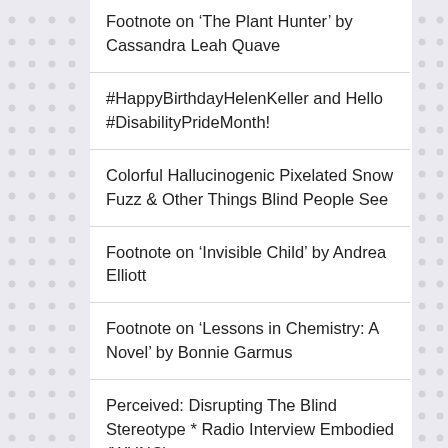Footnote on ‘The Plant Hunter’ by Cassandra Leah Quave
#HappyBirthdayHelenKeller and Hello #DisabilityPrideMonth!
Colorful Hallucinogenic Pixelated Snow Fuzz & Other Things Blind People See
Footnote on ‘Invisible Child’ by Andrea Elliott
Footnote on ‘Lessons in Chemistry: A Novel’ by Bonnie Garmus
Perceived: Disrupting The Blind Stereotype * Radio Interview Embodied (WUNC)